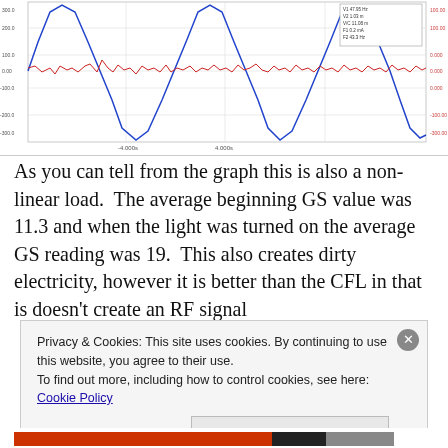[Figure (continuous-plot): Waveform graph showing two overlapping signals: a large-amplitude blue sinusoidal wave (voltage) oscillating above and below zero, and a flat red signal (current) with small irregular ripples near the horizontal center. Y-axis has labels on left side, x-axis shows time labels. A legend box in top-right lists curve parameters.]
As you can tell from the graph this is also a non-linear load.  The average beginning GS value was 11.3 and when the light was turned on the average GS reading was 19.  This also creates dirty electricity, however it is better than the CFL in that is doesn't create an RF signal
Privacy & Cookies: This site uses cookies. By continuing to use this website, you agree to their use.
To find out more, including how to control cookies, see here: Cookie Policy
Close and accept